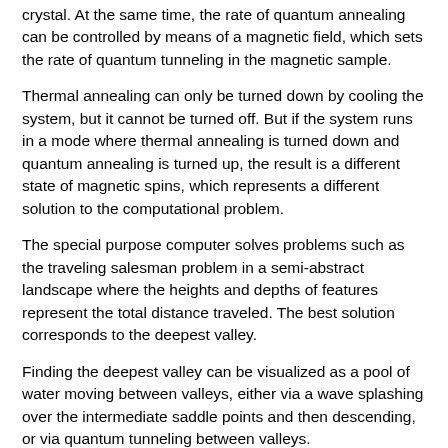crystal. At the same time, the rate of quantum annealing can be controlled by means of a magnetic field, which sets the rate of quantum tunneling in the magnetic sample.
Thermal annealing can only be turned down by cooling the system, but it cannot be turned off. But if the system runs in a mode where thermal annealing is turned down and quantum annealing is turned up, the result is a different state of magnetic spins, which represents a different solution to the computational problem.
The special purpose computer solves problems such as the traveling salesman problem in a semi-abstract landscape where the heights and depths of features represent the total distance traveled. The best solution corresponds to the deepest valley.
Finding the deepest valley can be visualized as a pool of water moving between valleys, either via a wave splashing over the intermediate saddle points and then descending, or via quantum tunneling between valleys.